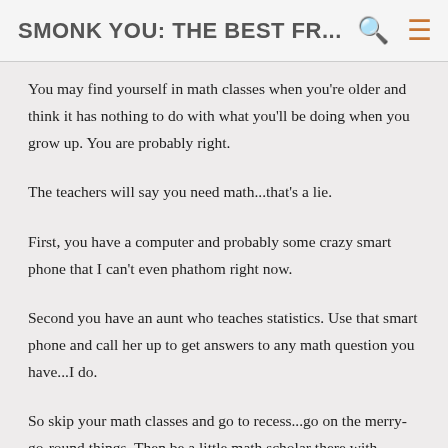SMONK YOU: THE BEST FR...
You may find yourself in math classes when you're older and think it has nothing to do with what you'll be doing when you grow up. You are probably right.
The teachers will say you need math...that's a lie.
First, you have a computer and probably some crazy smart phone that I can't even phathom right now.
Second you have an aunt who teaches statistics. Use that smart phone and call her up to get answers to any math question you have...I do.
So skip your math classes and go to recess...go on the merry-go-round things. Then be a little math scholar there with...